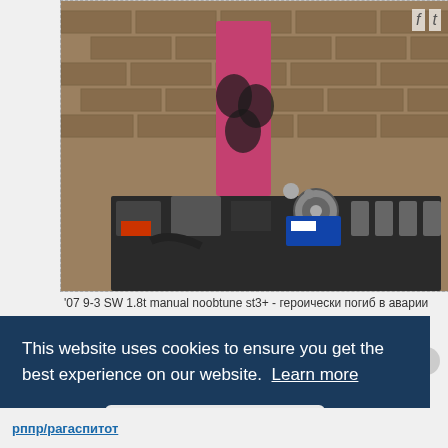[Figure (photo): Photo of automotive engine parts and components laid out on a dark workbench against a brick wall background. Parts include a head gasket (pink/red packaging), various engine components, ignition coils, throttle body, injectors, hoses, and small hardware. Social media icons (f, t) visible in top right corner of photo.]
'07 9-3 SW 1.8t manual noobtune st3+ - героически погиб в аварии
This website uses cookies to ensure you get the best experience on our website. Learn more
Got it!
рппр/рагаспитот